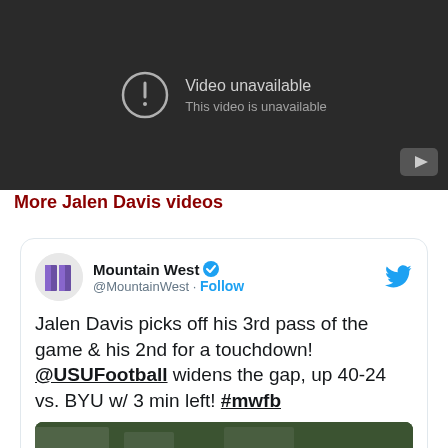[Figure (screenshot): Video player showing 'Video unavailable / This video is unavailable' error screen with a YouTube logo in bottom right]
More Jalen Davis videos
[Figure (screenshot): Embedded tweet from @MountainWest: 'Jalen Davis picks off his 3rd pass of the game & his 2nd for a touchdown! @USUFootball widens the gap, up 40-24 vs. BYU w/ 3 min left! #mwfb' with a Watch on Twitter image of a football game]